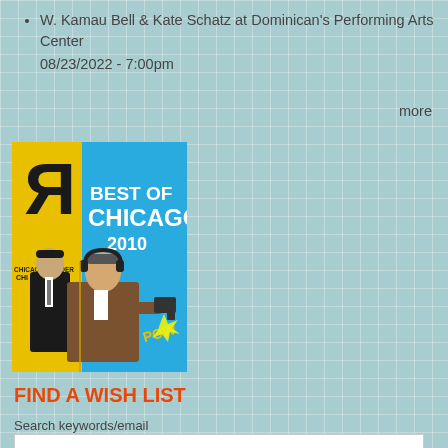W. Kamau Bell & Kate Schatz at Dominican's Performing Arts Center
08/23/2022 - 7:00pm
more
[Figure (illustration): Book cover for Chicago Reader Best of Chicago 2010, featuring illustrated figures of two men with guns, one in a suit, one in a brown jacket wearing headphones, against a yellow and blue background with a reversed R logo.]
FIND A WISH LIST
Search keywords/email